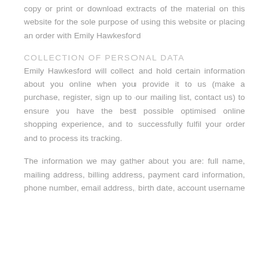copy or print or download extracts of the material on this website for the sole purpose of using this website or placing an order with Emily Hawkesford
COLLECTION OF PERSONAL DATA
Emily Hawkesford will collect and hold certain information about you online when you provide it to us (make a purchase, register, sign up to our mailing list, contact us) to ensure you have the best possible optimised online shopping experience, and to successfully fulfil your order and to process its tracking.
The information we may gather about you are: full name, mailing address, billing address, payment card information, phone number, email address, birth date, account username